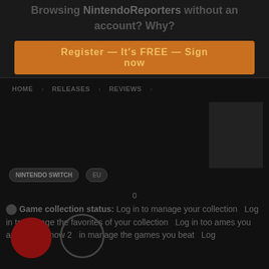Browsing NintendoReporters without an account? Why?
[Figure (screenshot): Orange/brown register button with text]
HOME  RELEASES  REVIEWS
[Figure (photo): Game box art image in upper right]
NINTENDO SWITCH
EU
0
Game collection status: Log in to manage your collection  Log in to manage the favorites of your collection  Log in too ames you are playing now 2  in manage the games you beat  Log